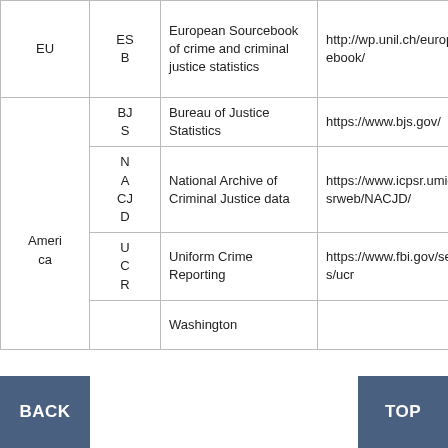| Region | Code | Name | URL |
| --- | --- | --- | --- |
| EU | ESB | European Sourcebook of crime and criminal justice statistics | http://wp.unil.ch/europeansourcebook/ |
| America | BJS | Bureau of Justice Statistics | https://www.bjs.gov/ |
| America | NACJD | National Archive of Criminal Justice data | https://www.icpsr.umich.edu/icpsrweb/NACJD/ |
| America | UCR | Uniform Crime Reporting | https://www.fbi.gov/services/cjis/ucr |
|  |  | Washington |  |